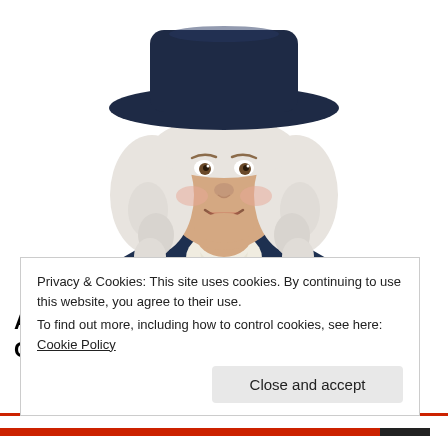[Figure (illustration): Quaker Oats man mascot: a smiling colonial-era gentleman with white curly wig, dark navy wide-brimmed hat, dark navy coat, and white ruffled cravat, shown from upper torso up against a white background.]
Almost Nobody Has Passed This Classic Logo Quiz
Privacy & Cookies: This site uses cookies. By continuing to use this website, you agree to their use.
To find out more, including how to control cookies, see here: Cookie Policy
Close and accept